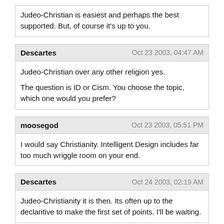Judeo-Christian is easiest and perhaps the best supported. But, of course it's up to you.
Descartes
Oct 23 2003, 04:47 AM
Judeo-Christian over any other religion yes.

The question is ID or Cism. You choose the topic, which one would you prefer?
moosegod
Oct 23 2003, 05:51 PM
I would say Christianity. Intelligent Design includes far too much wriggle room on your end.
Descartes
Oct 24 2003, 02:19 AM
Judeo-Christianity it is then. Its often up to the declaritive to make the first set of points. I'll be waiting.
Descartes
Oct 24 2003, 04:01 AM
While I'm waiting I'll make a few points for my side.

1. Evolution is a could have observation not did.

2. We do not know the past. Because some believe it is possible...